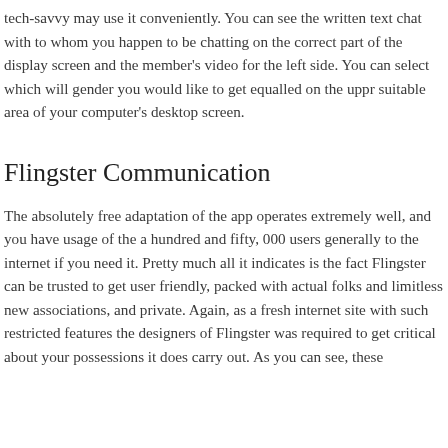tech-savvy may use it conveniently. You can see the written text chat with to whom you happen to be chatting on the correct part of the display screen and the member's video for the left side. You can select which will gender you would like to get equalled on the uppr suitable area of your computer's desktop screen.
Flingster Communication
The absolutely free adaptation of the app operates extremely well, and you have usage of the a hundred and fifty, 000 users generally to the internet if you need it. Pretty much all it indicates is the fact Flingster can be trusted to get user friendly, packed with actual folks and limitless new associations, and private. Again, as a fresh internet site with such restricted features the designers of Flingster was required to get critical about your possessions it does carry out. As you can see, these